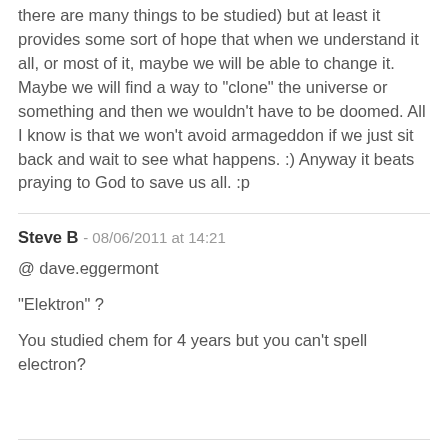there are many things to be studied) but at least it provides some sort of hope that when we understand it all, or most of it, maybe we will be able to change it. Maybe we will find a way to "clone" the universe or something and then we wouldn't have to be doomed. All I know is that we won't avoid armageddon if we just sit back and wait to see what happens. :) Anyway it beats praying to God to save us all. :p
Steve B - 08/06/2011 at 14:21
@ dave.eggermont
"Elektron" ?
You studied chem for 4 years but you can't spell electron?